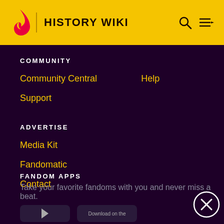HISTORY WIKI
COMMUNITY
Community Central
Help
Support
ADVERTISE
Media Kit
Fandomatic
Contact
FANDOM APPS
Take your favorite fandoms with you and never miss a beat.